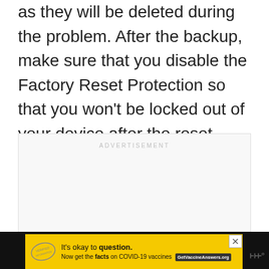as they will be deleted during the problem. After the backup, make sure that you disable the Factory Reset Protection so that you won't be locked out of your device after the reset.
[Figure (other): Advertisement placeholder box with 'ADVERTISEMENT' label in light grey text]
[Figure (other): Bottom banner ad on dark background: yellow ad for COVID-19 vaccine information. Text: It's okay to question. Now get the facts on COVID-19 vaccines GetVaccineAnswers.org. Contains a stamp graphic and WW logo.]